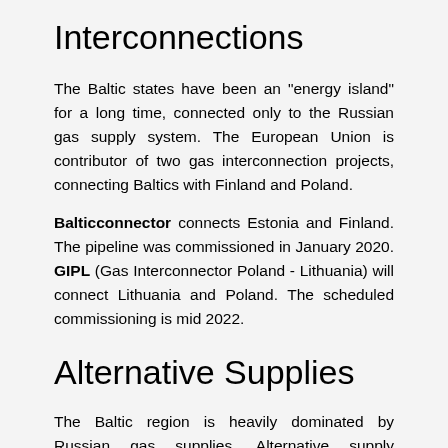Interconnections
The Baltic states have been an "energy island" for a long time, connected only to the Russian gas supply system. The European Union is contributor of two gas interconnection projects, connecting Baltics with Finland and Poland.
Balticconnector connects Estonia and Finland. The pipeline was commissioned in January 2020. GIPL (Gas Interconnector Poland - Lithuania) will connect Lithuania and Poland. The scheduled commissioning is mid 2022.
Alternative Supplies
The Baltic region is heavily dominated by Russian gas supplies. Alternative supply channels has been considered in recent years. Since 2014, the LNG...